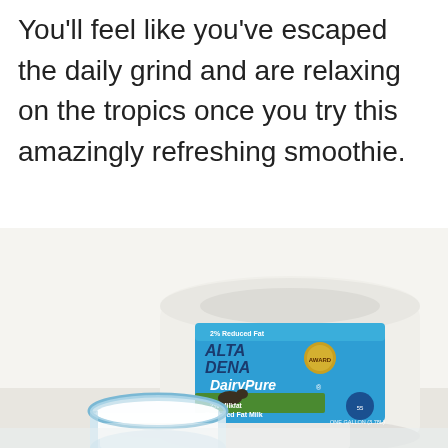You'll feel like you've escaped the daily grind and are relaxing on the tropics once you try this amazingly refreshing smoothie.
[Figure (photo): Photo of an Alta Dena DairyPure 2% Reduced Fat Milk container (large white jug with blue label) and a glass of milk with a blue rim, both on a white surface.]